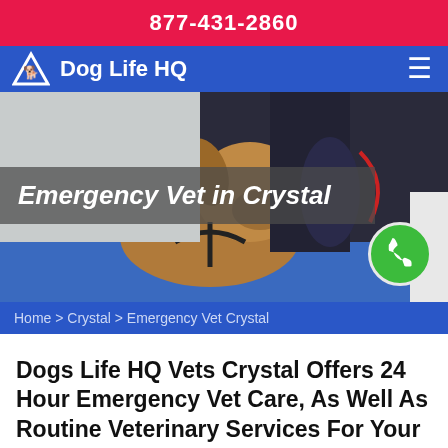877-431-2860
Dog Life HQ
[Figure (photo): A small brown dog lying on a blue examination table being examined by a veterinarian wearing dark scrubs and a mask. The image serves as a hero banner for an emergency vet page.]
Emergency Vet in Crystal
Home > Crystal > Emergency Vet Crystal
Dogs Life HQ Vets Crystal Offers 24 Hour Emergency Vet Care, As Well As Routine Veterinary Services For Your Pets. Our